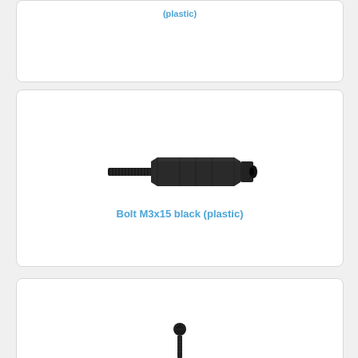[Figure (photo): Top card showing partial product image, cropped at top]
[Figure (photo): Black plastic standoff bolt M3x15, hexagonal body with threaded male end on left and female socket on right]
Bolt M3x15 black (plastic)
[Figure (photo): Bottom card showing partial small black bolt/fastener component at bottom edge]